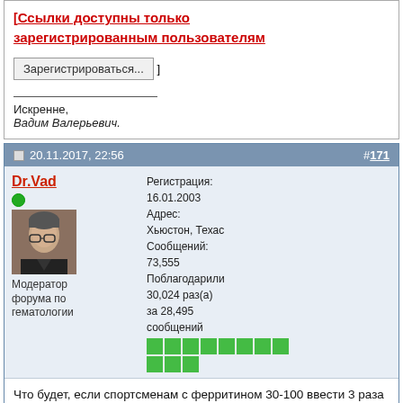[Ссылки доступны только зарегистрированным пользователям
Зарегистрироваться...
Искренне,
Вадим Валерьевич.
20.11.2017, 22:56  #171
Dr.Vad
Модератор форума по гематологии
Регистрация: 16.01.2003
Адрес: Хьюстон, Техас
Сообщений: 73,555
Поблагодарили 30,024 раз(а) за 28,495 сообщений
Что будет, если спортсменам с ферритином 30-100 ввести 3 раза по 100 мг венофера в течение 4 недель?
4 weeks of IV ferric carboxymaltose supplementation doubled serum ferritin, and decreased feelings of fatigue and mood disturbance in non-anemic athletes with initial ferritin levels in the clinically normal range of 30–100 ug/L, without associated changes in